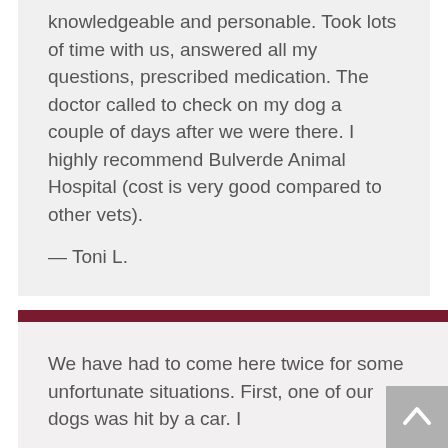knowledgeable and personable. Took lots of time with us, answered all my questions, prescribed medication. The doctor called to check on my dog a couple of days after we were there. I highly recommend Bulverde Animal Hospital (cost is very good compared to other vets).
— Toni L.
We have had to come here twice for some unfortunate situations. First, one of our dogs was hit by a car. I